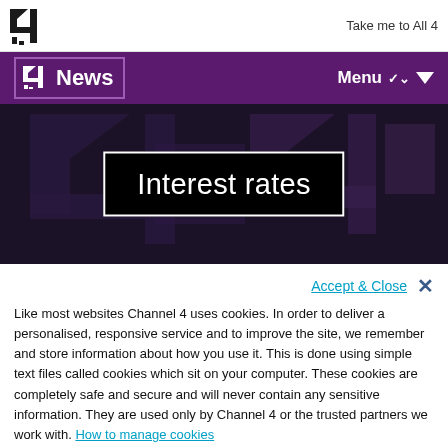Take me to All 4
[Figure (logo): Channel 4 logo in top bar and nav bar]
News   Menu
[Figure (screenshot): Dark hero banner with large white-bordered black box containing the text 'Interest rates' in white on a dark purple/black background with stylized Channel 4 logo graphics]
Interest rates
Accept & Close  ×
Like most websites Channel 4 uses cookies. In order to deliver a personalised, responsive service and to improve the site, we remember and store information about how you use it. This is done using simple text files called cookies which sit on your computer. These cookies are completely safe and secure and will never contain any sensitive information. They are used only by Channel 4 or the trusted partners we work with. How to manage cookies